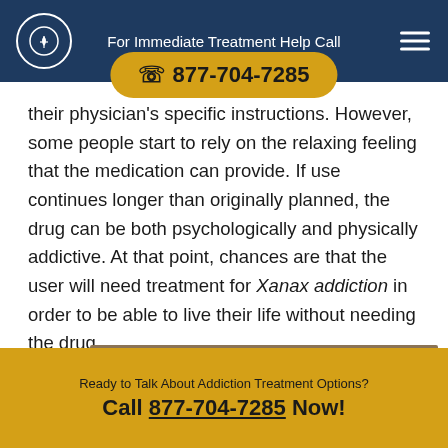For Immediate Treatment Help Call
☎ 877-704-7285
their physician's specific instructions. However, some people start to rely on the relaxing feeling that the medication can provide. If use continues longer than originally planned, the drug can be both psychologically and physically addictive. At that point, chances are that the user will need treatment for Xanax addiction in order to be able to live their life without needing the drug.
[Figure (photo): Photograph of white Xanax pills scattered on a surface]
Ready to Talk About Addiction Treatment Options? Call 877-704-7285 Now!